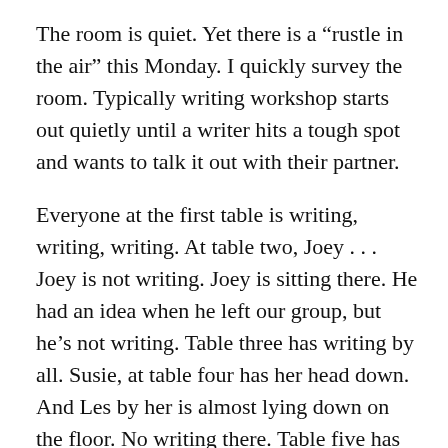The room is quiet. Yet there is a “rustle in the air” this Monday. I quickly survey the room. Typically writing workshop starts out quietly until a writer hits a tough spot and wants to talk it out with their partner.
Everyone at the first table is writing, writing, writing. At table two, Joey . . . Joey is not writing. Joey is sitting there. He had an idea when he left our group, but he’s not writing. Table three has writing by all. Susie, at table four has her head down. And Les by her is almost lying down on the floor. No writing there. Table five has writing.
What’s a writing teacher to do?  Quick